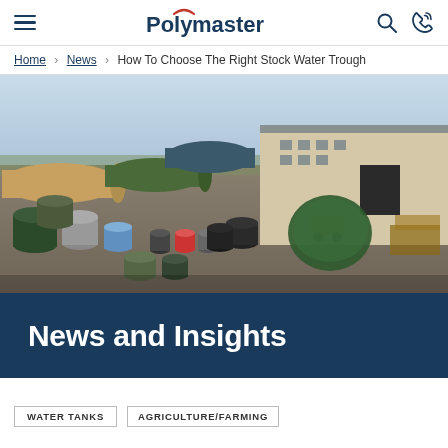Polymaster — navigation header with hamburger menu, logo, search and phone icons
Home › News › How To Choose The Right Stock Water Trough
[Figure (photo): Aerial/elevated photo of Polymaster manufacturing facility yard showing large plastic water tanks and storage containers of various sizes, with industrial buildings in the background.]
News and Insights
WATER TANKS   AGRICULTURE/FARMING